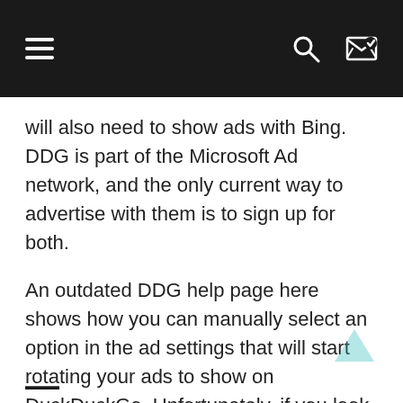≡  🔍  ⇄
will also need to show ads with Bing. DDG is part of the Microsoft Ad network, and the only current way to advertise with them is to sign up for both.
An outdated DDG help page here shows how you can manually select an option in the ad settings that will start rotating your ads to show on DuckDuckGo. Unfortunately, if you look around in the admin area for Microsoft Ads, you will not be able to find what they are referencing when they talk about that.
According to Capgemini Business Analyst Rupam Bilani, creating a Microsoft Advertising account will circulate your ads through all platforms in their network, including DDG.